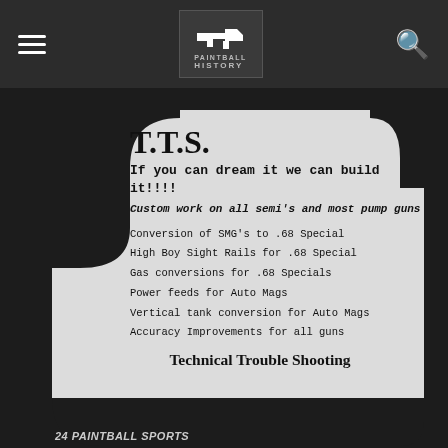Paintball History — navigation bar with hamburger menu, logo, and search icon
T.T.S.
If you can dream it we can build it!!!!
Custom work on all semi's and most pump guns
Conversion of SMG's to .68 Special
High Boy Sight Rails for .68 Special
Gas conversions for .68 Specials
Power feeds for Auto Mags
Vertical tank conversion for Auto Mags
Accuracy Improvements for all guns
Technical Trouble Shooting
24 PAINTBALL SPORTS